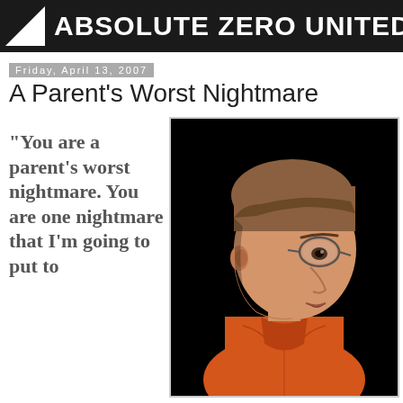ABSOLUTE ZERO UNITED
Friday, April 13, 2007
A Parent's Worst Nightmare
"You are a parent's worst nightmare. You are one nightmare that I'm going to put to
[Figure (photo): Mugshot-style photo of a young man with short brown hair wearing wire-rimmed glasses and an orange prison jumpsuit, photographed in profile against a black background.]